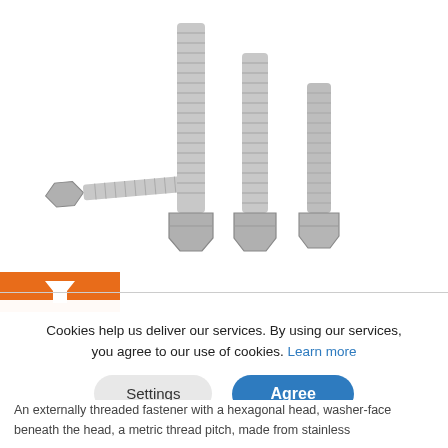[Figure (photo): Three stainless steel hex bolts of varying lengths arranged in a group, showing threaded shafts and hexagonal heads, on a white background.]
Cookies help us deliver our services. By using our services, you agree to our use of cookies. Learn more
Settings
Agree
An externally threaded fastener with a hexagonal head, washer-face beneath the head, a metric thread pitch, made from stainless